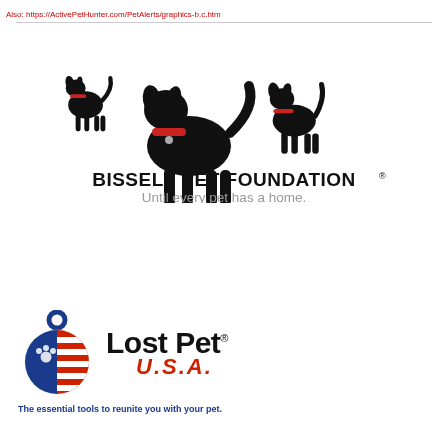Also: https://ActivePetHunter.com/PetAlerts/graphics-b.c.htm
[Figure (logo): Bissell Pet Foundation logo: three black dog silhouettes with red collars, followed by bold text 'BISSELL PET FOUNDATION®' and gray text 'Until every pet has a home.']
[Figure (logo): Lost Pet U.S.A. logo: circular pet tag icon with American flag design (blue with paw print and red/white stripes), next to bold text 'Lost Pet®' and red italic 'U.S.A.' below, with tagline 'The essential tools to reunite you with your pet.']